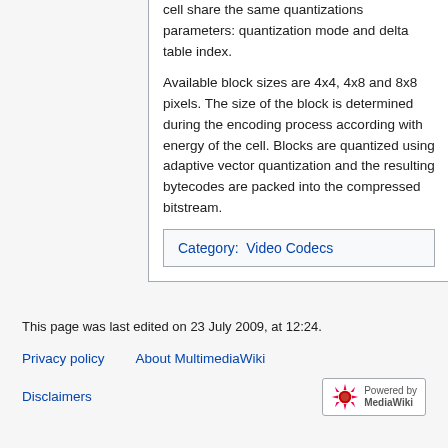cell share the same quantizations parameters: quantization mode and delta table index.
Available block sizes are 4x4, 4x8 and 8x8 pixels. The size of the block is determined during the encoding process according with energy of the cell. Blocks are quantized using adaptive vector quantization and the resulting bytecodes are packed into the compressed bitstream.
Category:  Video Codecs
This page was last edited on 23 July 2009, at 12:24.
Privacy policy   About MultimediaWiki
Disclaimers